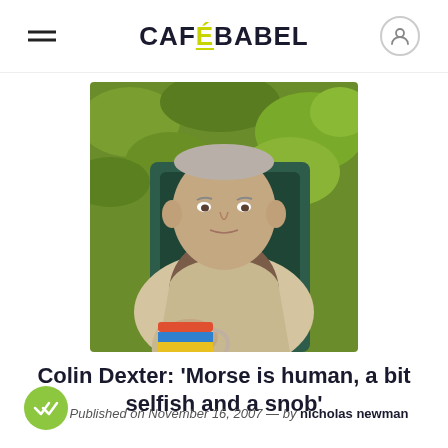CAFÉBABEL
[Figure (photo): Elderly man sitting outdoors in a garden chair, wearing a beige cardigan and brown shirt, holding a colorful mug, with a green hedge in the background.]
Colin Dexter: 'Morse is human, a bit selfish and a snob'
Published on November 16, 2007 — by nicholas newman